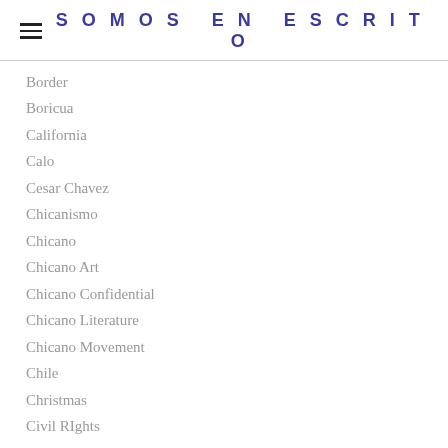SOMOS EN ESCRITO
Border
Boricua
California
Calo
Cesar Chavez
Chicanismo
Chicano
Chicano Art
Chicano Confidential
Chicano Literature
Chicano Movement
Chile
Christmas
Civil RIghts
Collective Memory
Colonialism
Column
Commentary